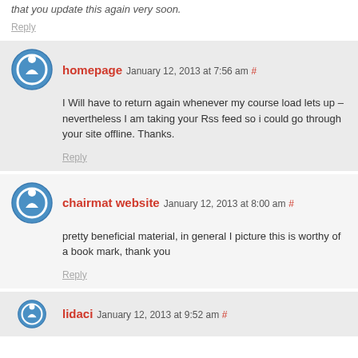that you update this again very soon.
Reply
homepage January 12, 2013 at 7:56 am #
I Will have to return again whenever my course load lets up – nevertheless I am taking your Rss feed so i could go through your site offline. Thanks.
Reply
chairmat website January 12, 2013 at 8:00 am #
pretty beneficial material, in general I picture this is worthy of a book mark, thank you
Reply
lidaci January 12, 2013 at 9:52 am #